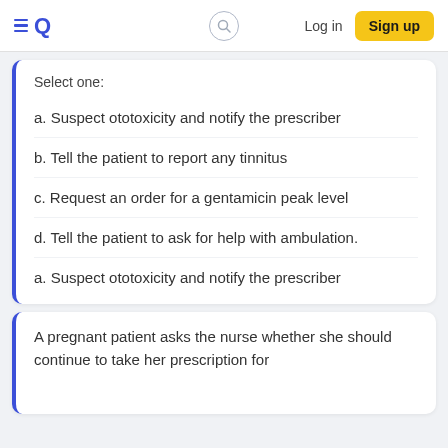EQ  [search]  Log in  Sign up
Select one:
a. Suspect ototoxicity and notify the prescriber
b. Tell the patient to report any tinnitus
c. Request an order for a gentamicin peak level
d. Tell the patient to ask for help with ambulation.
a. Suspect ototoxicity and notify the prescriber
A pregnant patient asks the nurse whether she should continue to take her prescription for